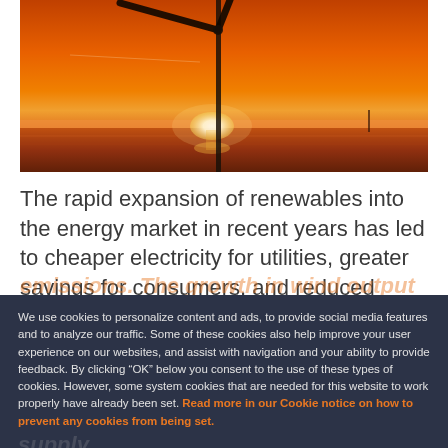[Figure (photo): Wind turbine silhouetted against a vivid orange sunset over calm water, with a small boat or turbine visible in the distance on the right]
The rapid expansion of renewables into the energy market in recent years has led to cheaper electricity for utilities, greater savings for consumers, and reduced emissions. The growth in wind output in particular has
We use cookies to personalize content and ads, to provide social media features and to analyze our traffic. Some of these cookies also help improve your user experience on our websites, and assist with navigation and your ability to provide feedback. By clicking “OK” below you consent to the use of these types of cookies. However, some system cookies that are needed for this website to work properly have already been set. Read more in our Cookie notice on how to prevent any cookies from being set.
OK
however, the dramatic rise in renewable energy production has also created challenges around supply.